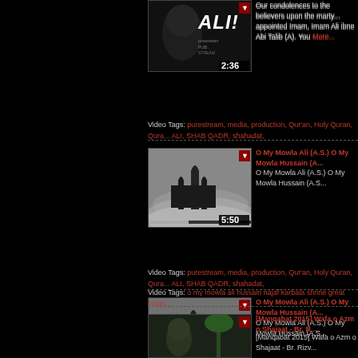[Figure (screenshot): Video thumbnail showing person with 'ALI!' text, duration 2:36]
Our condolences to the believers upon the martyrdom of the divinely appointed Imam, Imam Ali ibne Abi Talib (A). You... More...
Video Tags: purestream, media, production, Qur'an, Holy Quran, Qura... ALI, SHAB QADR, shahadat,
[Figure (screenshot): Video thumbnail showing mosque in foggy night, duration 5:50]
O My Mowla Ali (A.S.) O My Mowla Hussain (A...
O My Mowla Ali (A.S.) O My Mowla Hussain (A.S...
Video Tags: o my mowla ali hussain najaf karbala shrine great imam...
[Figure (screenshot): Video thumbnail showing person, [Manqabat 2015] Wafa o Azm o Shajaat - Br. R...]
[Manqabat 2015] Wafa o Azm o Shajaat - Br. R...
[Manqabat 2015] Wafa o Azm o Shajaat - Br. Rizv...